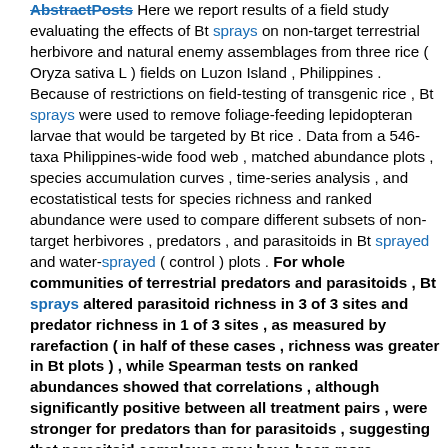Here we report results of a field study evaluating the effects of Bt sprays on non-target terrestrial herbivore and natural enemy assemblages from three rice ( Oryza sativa L ) fields on Luzon Island , Philippines . Because of restrictions on field-testing of transgenic rice , Bt sprays were used to remove foliage-feeding lepidopteran larvae that would be targeted by Bt rice . Data from a 546-taxa Philippines-wide food web , matched abundance plots , species accumulation curves , time-series analysis , and ecostatistical tests for species richness and ranked abundance were used to compare different subsets of non-target herbivores , predators , and parasitoids in Bt sprayed and water-sprayed ( control ) plots . For whole communities of terrestrial predators and parasitoids , Bt sprays altered parasitoid richness in 3 of 3 sites and predator richness in 1 of 3 sites , as measured by rarefaction ( in half of these cases , richness was greater in Bt plots ) , while Spearman tests on ranked abundances showed that correlations , although significantly positive between all treatment pairs , were stronger for predators than for parasitoids , suggesting that parasitoid complexes may have been more sensitive than predators to the effects of Bt sprays . Species accumulation curves and time-series analyses of population trends revealed no evidence that Bt sprays altered the overall buildup of predator or parasitoid communities or population trajectories of non-target herbivores ( planthoppers and leafhoppers ) nor was evidence found for bottom-up effects in total abundances of non-target species identified in the food web from the addition of spores in the Bt spray formulation . When the same methods were applied to natural enemies ( predators and parasitoids ) of foliage-feeding lepidopteran and non-lepidopteran ( homopteran , hemipteran and dipteran ) herbivores , significant differences between treatments were detected in 7 of 12 cases . However , no treatment differences were found in mean abundances of these natural enemies , either in time-series plots or in total ( seasonal ) abundance . Analysis of guild-